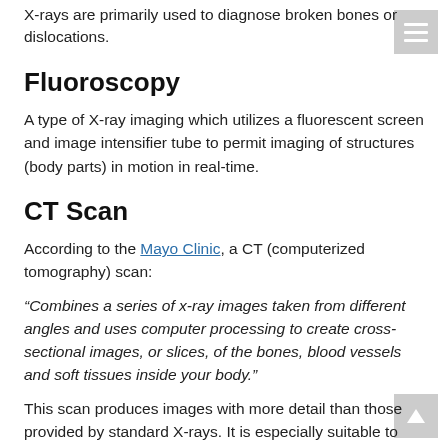X-rays are primarily used to diagnose broken bones or dislocations.
Fluoroscopy
A type of X-ray imaging which utilizes a fluorescent screen and image intensifier tube to permit imaging of structures (body parts) in motion in real-time.
CT Scan
According to the Mayo Clinic, a CT (computerized tomography) scan:
“Combines a series of x-ray images taken from different angles and uses computer processing to create cross-sectional images, or slices, of the bones, blood vessels and soft tissues inside your body.”
This scan produces images with more detail than those provided by standard X-rays. It is especially suitable to quickly diagnose disease or internal injuries and as a tool to clear a patient for surgery.